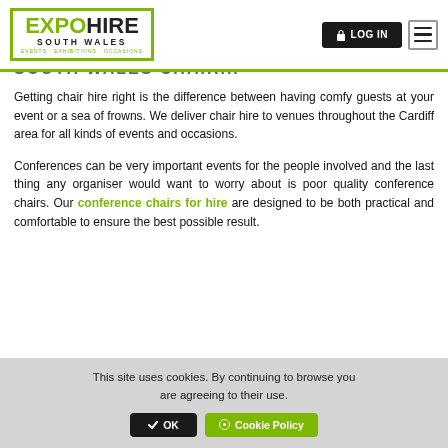EXPO HIRE SOUTH WALES — EVENTS · EXHIBITIONS · OCCASIONS | LOG IN | menu
SOUTH WALES CHAIR...
Getting chair hire right is the difference between having comfy guests at your event or a sea of frowns. We deliver chair hire to venues throughout the Cardiff area for all kinds of events and occasions.
Conferences can be very important events for the people involved and the last thing any organiser would want to worry about is poor quality conference chairs. Our conference chairs for hire are designed to be both practical and comfortable to ensure the best possible result.
This site uses cookies. By continuing to browse you are agreeing to their use.